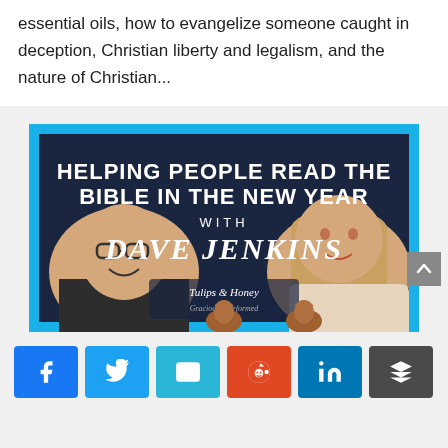essential oils, how to evangelize someone caught in deception, Christian liberty and legalism, and the nature of Christian...
[Figure (photo): Podcast thumbnail image titled 'Helping People Read the Bible in the New Year with Dave Jenkins' featuring two people and the Tulips & Honey logo]
Social share buttons: Facebook, Twitter, Email, Reddit, LinkedIn, Buffer